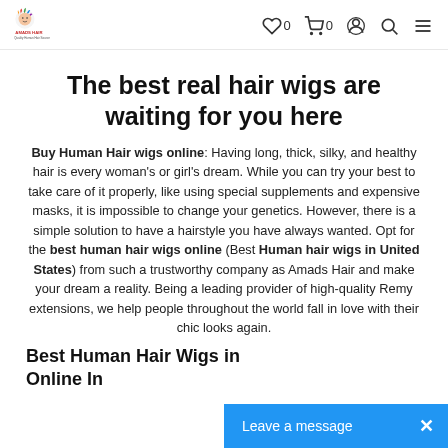Amads Hair — navigation header with logo, wishlist (0), cart (0), account, search, menu icons
The best real hair wigs are waiting for you here
Buy Human Hair wigs online: Having long, thick, silky, and healthy hair is every woman's or girl's dream. While you can try your best to take care of it properly, like using special supplements and expensive masks, it is impossible to change your genetics. However, there is a simple solution to have a hairstyle you have always wanted. Opt for the best human hair wigs online (Best Human hair wigs in United States) from such a trustworthy company as Amads Hair and make your dream a reality. Being a leading provider of high-quality Remy extensions, we help people throughout the world fall in love with their chic looks again.
Best Human Hair Wigs in … Online In…